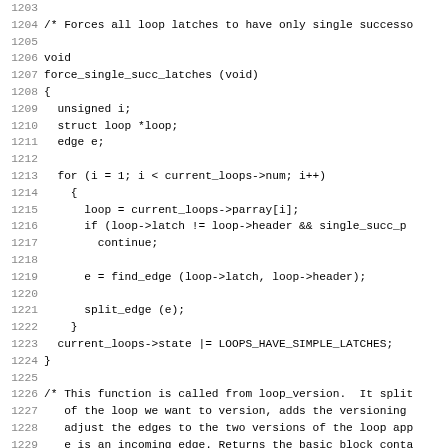Source code listing lines 1203-1234, showing C function force_single_succ_latches and a comment block